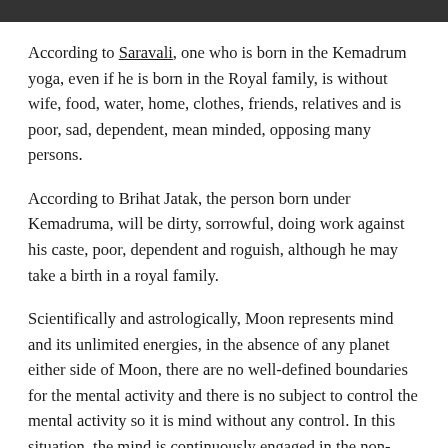According to Saravali, one who is born in the Kemadrum yoga, even if he is born in the Royal family, is without wife, food, water, home, clothes, friends, relatives and is poor, sad, dependent, mean minded, opposing many persons.
According to Brihat Jatak, the person born under Kemadruma, will be dirty, sorrowful, doing work against his caste, poor, dependent and roguish, although he may take a birth in a royal family.
Scientifically and astrologically, Moon represents mind and its unlimited energies, in the absence of any planet either side of Moon, there are no well-defined boundaries for the mental activity and there is no subject to control the mental activity so it is mind without any control. In this situation, the mind is continuously engaged in the non-productive mental activity denoted by Moon's sign and Bhava. The person may